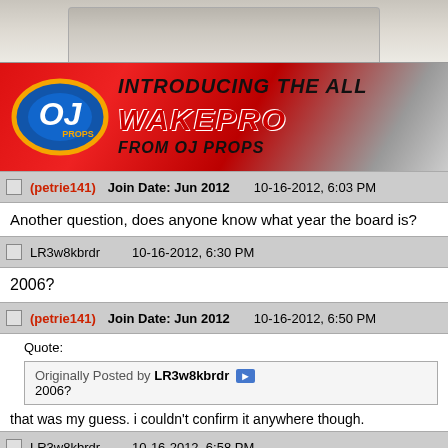[Figure (photo): Partial view of a person or object photo at top of page, cropped]
[Figure (other): OJ Props advertisement banner: INTRODUCING THE ALL NEW WAKEPRO FROM OJ PROPS with OJ Props logo on red background]
(petrie141)   Join Date: Jun 2012   10-16-2012, 6:03 PM
Another question, does anyone know what year the board is?
LR3w8kbrdr   10-16-2012, 6:30 PM
2006?
(petrie141)   Join Date: Jun 2012   10-16-2012, 6:50 PM
Quote:
Originally Posted by LR3w8kbrdr
2006?
that was my guess. i couldn't confirm it anywhere though.
LR3w8kbrdr   10-16-2012, 6:58 PM
Quote: